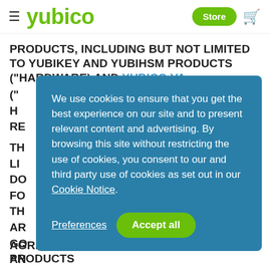yubico — Store
PRODUCTS, INCLUDING BUT NOT LIMITED TO YUBIKEY AND YUBIHSM PRODUCTS ("HARDWARE) AND YUBICO VA... ("... H... RE... TH... LI... DO... FO... TH... AR... Go... AN...
We use cookies to ensure that you get the best experience on our site and to present relevant content and advertising. By browsing this site without restricting the use of cookies, you consent to our and third party use of cookies as set out in our Cookie Notice.
Preferences | Accept all
AGREEMENT GOVERNING YOUR USE OF PRODUCTS